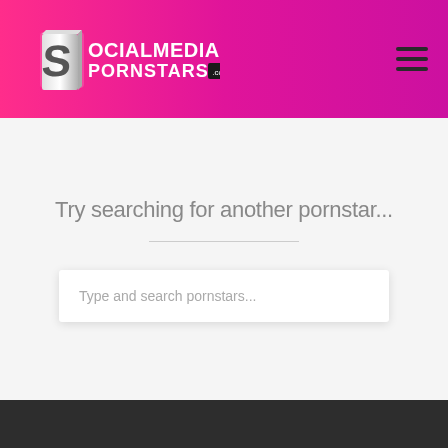SocialMediaPornstars.com
Try searching for another pornstar...
Type and search pornstars...